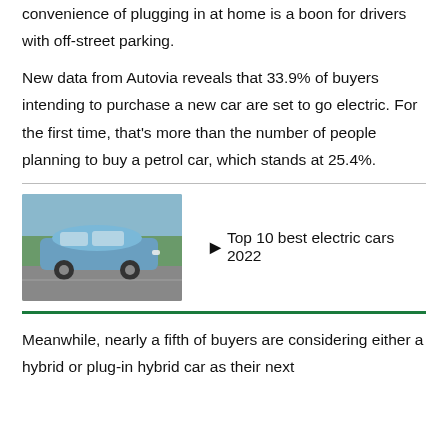convenience of plugging in at home is a boon for drivers with off-street parking.
New data from Autovia reveals that 33.9% of buyers intending to purchase a new car are set to go electric. For the first time, that's more than the number of people planning to buy a petrol car, which stands at 25.4%.
[Figure (photo): Blue Hyundai Ioniq 5 electric car driving on a road]
▶  Top 10 best electric cars 2022
Meanwhile, nearly a fifth of buyers are considering either a hybrid or plug-in hybrid car as their next purchase. Discoblogite st...